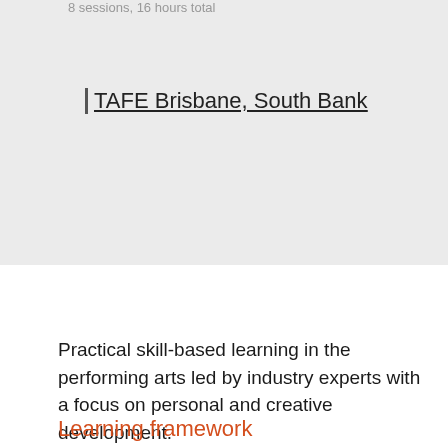8 sessions, 16 hours total
TAFE Brisbane, South Bank
Practical skill-based learning in the performing arts led by industry experts with a focus on personal and creative development.
Learning framework